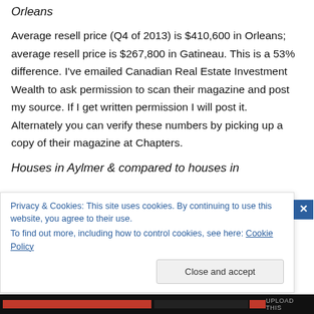Orleans
Average resell price (Q4 of 2013) is $410,600 in Orleans; average resell price is $267,800 in Gatineau. This is a 53% difference. I've emailed Canadian Real Estate Investment Wealth to ask permission to scan their magazine and post my source. If I get written permission I will post it. Alternately you can verify these numbers by picking up a copy of their magazine at Chapters.
Houses in Aylmer & compared to houses in
Privacy & Cookies: This site uses cookies. By continuing to use this website, you agree to their use.
To find out more, including how to control cookies, see here: Cookie Policy
Close and accept